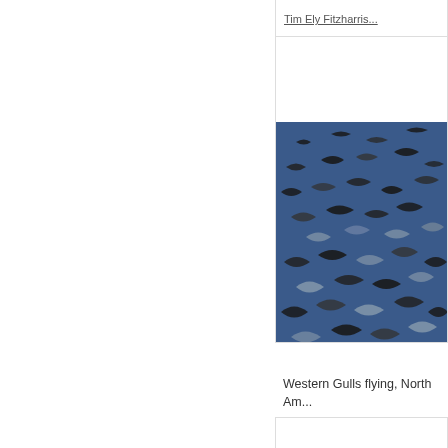Tim Ely Fitzharris
[Figure (photo): Flock of Western Gulls flying against a blue sky, seen from below. Many birds with dark wings and white bodies are scattered across the frame in various flight positions.]
Western Gulls flying, North Am... Tim Fitzharris